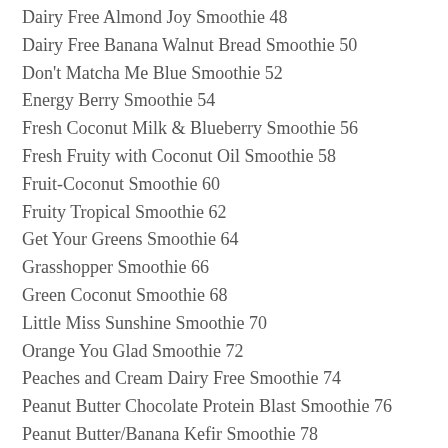Dairy Free Almond Joy Smoothie 48
Dairy Free Banana Walnut Bread Smoothie 50
Don't Matcha Me Blue Smoothie 52
Energy Berry Smoothie 54
Fresh Coconut Milk & Blueberry Smoothie 56
Fresh Fruity with Coconut Oil Smoothie 58
Fruit-Coconut Smoothie 60
Fruity Tropical Smoothie 62
Get Your Greens Smoothie 64
Grasshopper Smoothie 66
Green Coconut Smoothie 68
Little Miss Sunshine Smoothie 70
Orange You Glad Smoothie 72
Peaches and Cream Dairy Free Smoothie 74
Peanut Butter Chocolate Protein Blast Smoothie 76
Peanut Butter/Banana Kefir Smoothie 78
Piña Colada Smoothie 80